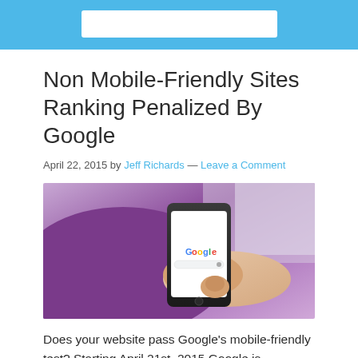Non Mobile-Friendly Sites Ranking Penalized By Google
April 22, 2015 by Jeff Richards — Leave a Comment
[Figure (photo): A person holding a smartphone displaying the Google search page]
Does your website pass Google’s mobile-friendly test? Starting April 21st, 2015 Google is penalizing non mobile-friendly sites, with their new ranking changes and your position on the search engine results pages (SERPS) may be taking a dive. If your site does not pass the Google’s